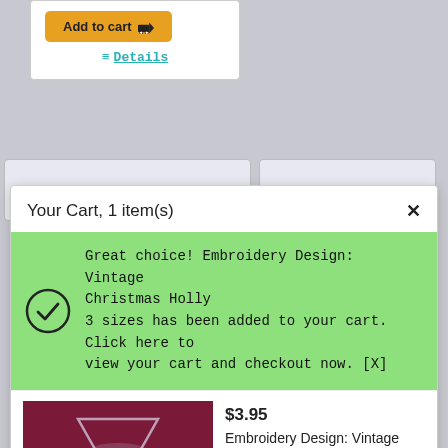Add to cart
Details
Your Cart, 1 item(s)
Great choice! Embroidery Design: Vintage Christmas Holly
3 sizes has been added to your cart. Click here to view your cart and checkout now. [X]
[Figure (photo): Photo of a martini glass with silver/white ornament balls on a dark red/maroon background]
$3.95
Embroidery Design: Vintage Christmas Holly
3 sizes
$3.95
$3.95